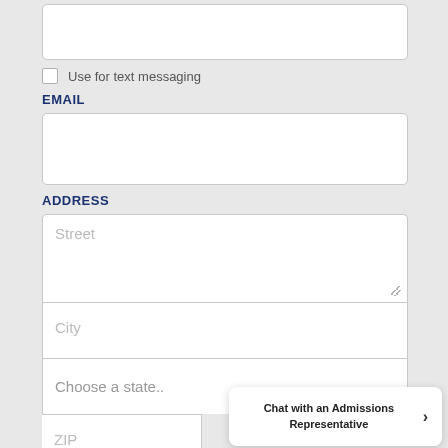PHONE (partial, top cut off)
Use for text messaging
EMAIL
ADDRESS
Street (placeholder)
City (placeholder)
Choose a state..
ZIP (placeholder)
Chat with an Admissions Representative